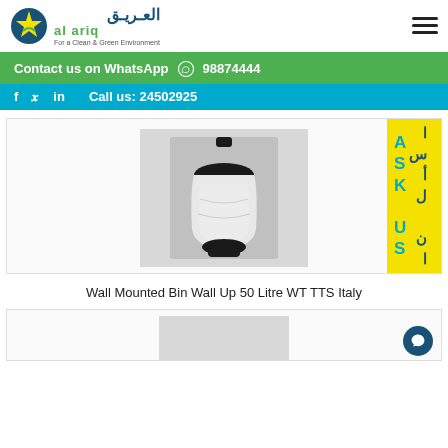[Figure (logo): Al Ariq company logo with star icon, Arabic text العريق, English text al ariq, tagline For a Clean & Green Environment]
Contact us on WhatsApp  98874444
f  y  in  Call us: 24502925
[Figure (photo): Wall mounted white and black waste bin with corner mounting, product photo on grey background]
ASK US / اسأل نا (yellow badge on right side)
Wall Mounted Bin Wall Up 50 Litre WT TTS Italy
[Figure (photo): Partial view of another product image, grey background, partial product visible at bottom of page]